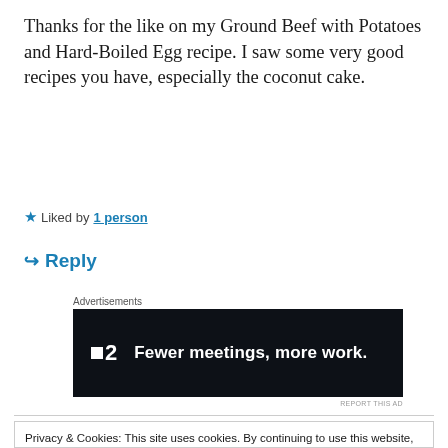Thanks for the like on my Ground Beef with Potatoes and Hard-Boiled Egg recipe. I saw some very good recipes you have, especially the coconut cake.
★ Liked by 1 person
↪ Reply
Advertisements
[Figure (other): Advertisement banner: dark background with logo '■2' and text 'Fewer meetings, more work.']
REPORT THIS AD
Privacy & Cookies: This site uses cookies. By continuing to use this website, you agree to their use. To find out more, including how to control cookies, see here: Cookie Policy
Recognition Award. 🙂